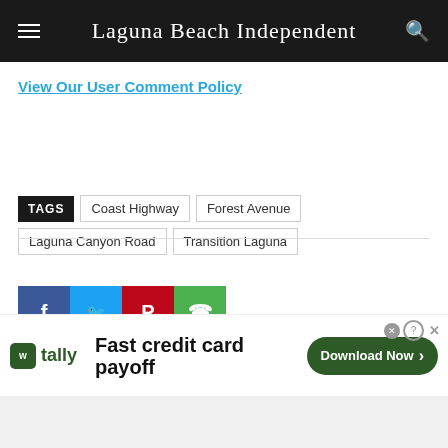Laguna Beach Independent
View Our User Comment Policy
TAGS  Coast Highway  Forest Avenue  Laguna Canyon Road  Transition Laguna
[Figure (other): Social share buttons: Facebook (blue), Twitter (cyan), Pinterest (red), WhatsApp (green)]
[Figure (other): Tally advertisement banner: 'Fast credit card payoff' with Download Now button]